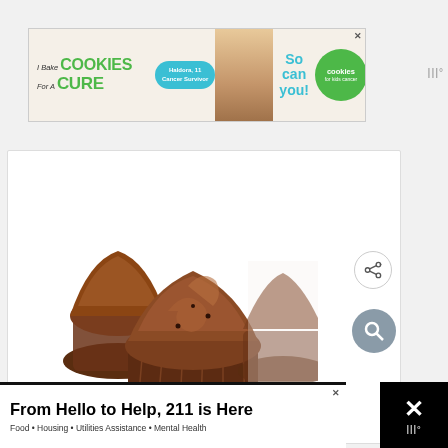[Figure (photo): Advertisement banner: 'I Bake COOKIES For A CURE' with Haldora, 11 Cancer Survivor photo, 'So can you!' text and Cookies for Kids Cancer green circle logo]
[Figure (photo): Chocolate cupcakes with swirled chocolate frosting on a white background]
[Figure (infographic): Advertisement banner at bottom: 'From Hello to Help, 211 is Here' with subtext 'Food • Housing • Utilities Assistance • Mental Health']